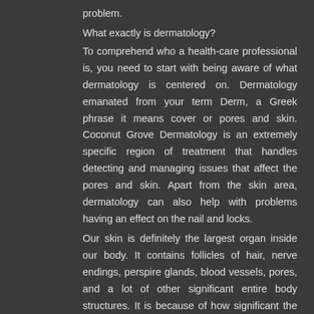problem.
What exactly is dermatology?
To comprehend who a health-care professional is, you need to start with being aware of what dermatology is centered on. Dermatology emanated from your term Derm, a Greek phrase it means cover or pores and skin. Coconut Grove Dermatology is an extremely specific region of treatment that handles detecting and managing issues that affect the pores and skin. Apart from the skin area, dermatology can also help with problems having an effect on the nail and locks.
Our skin is definitely the largest organ inside our body. It contains follicles of hair, nerve endings, perspire glands, blood vessels, pores, and a lot of other significant entire body structures. It is because of how significant the skin is the fact that we must